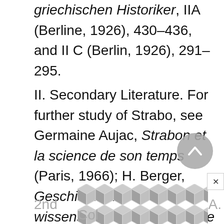griechischen Historiker, IIA (Berline, 1926), 430–436, and II C (Berlin, 1926), 291–295.
II. Secondary Literature. For further study of Strabo, see Germaine Aujac, Strabon et la science de son temps (Paris, 1966); H. Berger, Geschichte der wissenschaftlichen Erdkunde der Griechen (Leipzig, 2nd ed., 1903), 327–582; E. H. Bunbury, History of Ancient Geography, II (London, 1879; 2nd … A. Col…